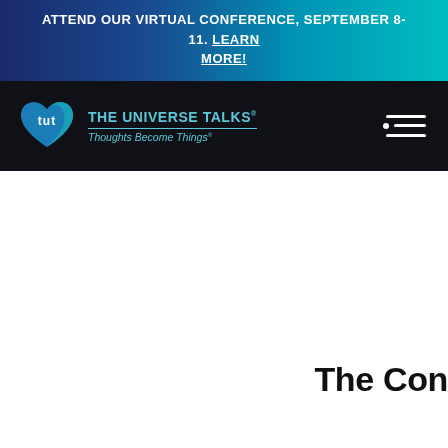ATTEND OUR VIRTUAL CONFERENCE, SEPTEMBER 8-11. LEARN MORE!
[Figure (logo): TUT - The Universe Talks logo with heart icon and tagline 'Thoughts Become Things']
The Con